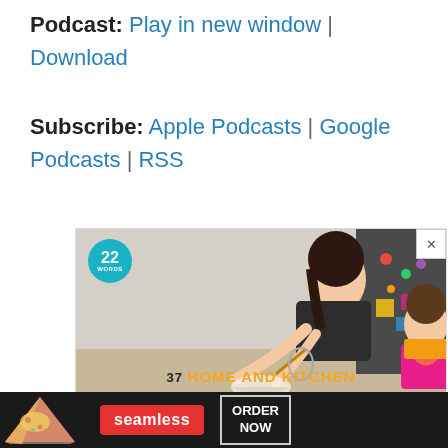Podcast: Play in new window | Download
Subscribe: Apple Podcasts | Google Podcasts | RSS
[Figure (photo): Advertisement image showing a woman and young girl cooking together in a kitchen, with a '22 Words' teal circular badge overlay, and text '37 HOME AND KITCHEN' at the bottom with a CLOSE button]
[Figure (photo): Seamless food delivery banner ad at the bottom showing pizza slices on the left, a red Seamless logo in the center, and an 'ORDER NOW' button on the right, all on a dark background]